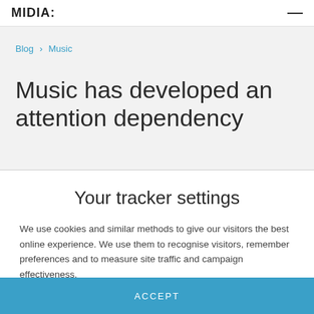MIDIA:
Blog › Music
Music has developed an attention dependency
Your tracker settings
We use cookies and similar methods to give our visitors the best online experience. We use them to recognise visitors, remember preferences and to measure site traffic and campaign effectiveness.
ACCEPT